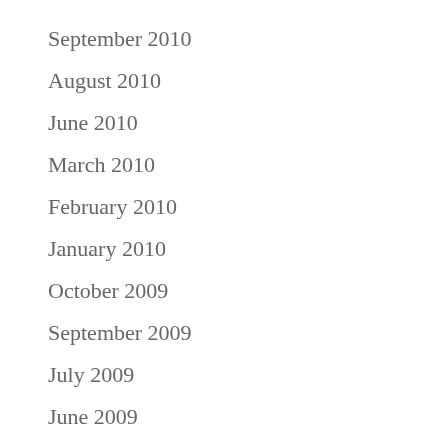September 2010
August 2010
June 2010
March 2010
February 2010
January 2010
October 2009
September 2009
July 2009
June 2009
May 2009
April 2009
February 2009
January 2009